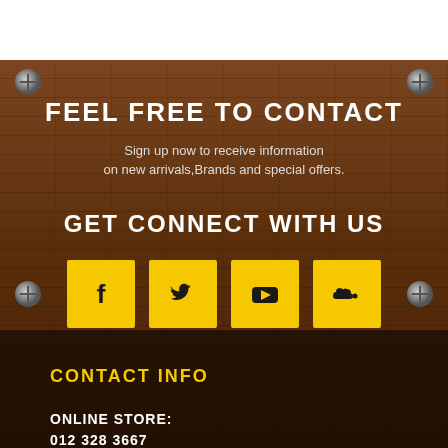FEEL FREE TO CONTACT
Sign up now to receive information on new arrivals,Brands and special offers.
GET CONNECT WITH US
[Figure (infographic): Four yellow square social media icons: Facebook (f), Twitter (bird), YouTube (play button), SoundCloud (cloud)]
CONTACT INFO
ONLINE STORE:
012 328 3667